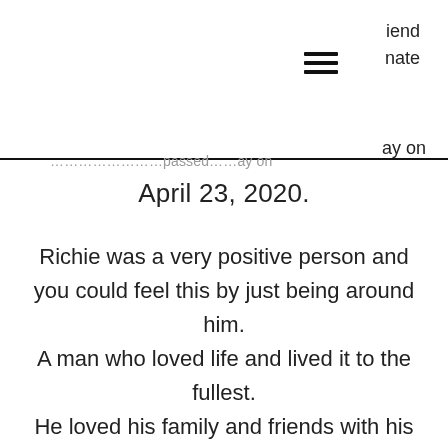iend
nate
…passed away on April 23, 2020.
Richie was a very positive person and you could feel this by just being around him. A man who loved life and lived it to the fullest. He loved his family and friends with his whole being. Always laughing and smiling and always saw the good in everything